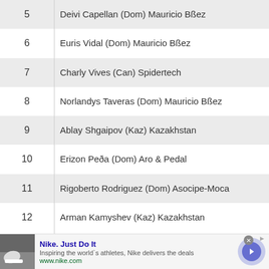| # | Rider |
| --- | --- |
| 5 | Deivi Capellan (Dom) Mauricio Bßez |
| 6 | Euris Vidal (Dom) Mauricio Bßez |
| 7 | Charly Vives (Can) Spidertech |
| 8 | Norlandys Taveras (Dom) Mauricio Bßez |
| 9 | Ablay Shgaipov (Kaz) Kazakhstan |
| 10 | Erizon Peða (Dom) Aro & Pedal |
| 11 | Rigoberto Rodriguez (Dom) Asocipe-Moca |
| 12 | Arman Kamyshev (Kaz) Kazakhstan |
[Figure (other): Nike advertisement banner with shoe image, Nike Just Do It headline, tagline and www.nike.com URL, with a circular arrow button]